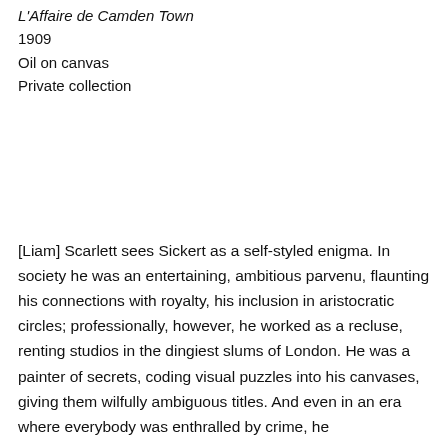L'Affaire de Camden Town
1909
Oil on canvas
Private collection
[Liam] Scarlett sees Sickert as a self-styled enigma. In society he was an entertaining, ambitious parvenu, flaunting his connections with royalty, his inclusion in aristocratic circles; professionally, however, he worked as a recluse, renting studios in the dingiest slums of London. He was a painter of secrets, coding visual puzzles into his canvases, giving them wilfully ambiguous titles. And even in an era where everybody was enthralled by crime, he